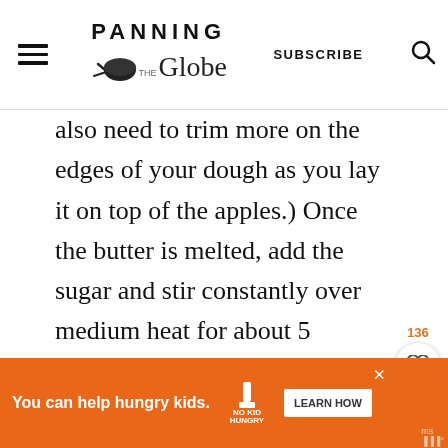PANNING THE Globe — SUBSCRIBE
also need to trim more on the edges of your dough as you lay it on top of the apples.) Once the butter is melted, add the sugar and stir constantly over medium heat for about 5 minutes, until the mixture turns a light caramel color, but is still grainy. Remove the skillet from the heat and spoon the apples
[Figure (other): Social media sidebar with 136 likes, heart button, and green search/share FAB button]
[Figure (other): Orange advertisement banner: 'You can help hungry kids. NO KID HUNGRY LEARN HOW' with close button]